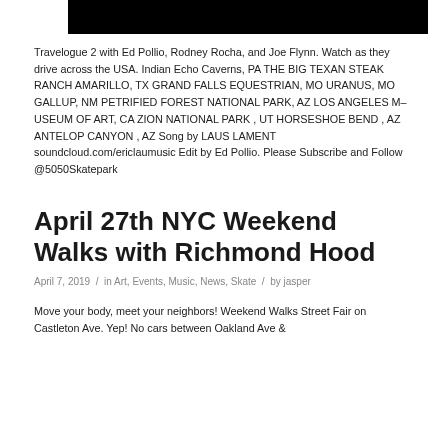[Figure (photo): Black rectangular image/video thumbnail at the top of the page]
Travelogue 2 with Ed Pollio, Rodney Rocha, and Joe Flynn. Watch as they drive across the USA. Indian Echo Caverns, PA THE BIG TEXAN STEAK RANCH AMARILLO, TX GRAND FALLS EQUESTRIAN, MO URANUS, MO GALLUP, NM PETRIFIED FOREST NATIONAL PARK, AZ LOS ANGELES M– USEUM OF ART, CA ZION NATIONAL PARK , UT HORSESHOE BEND , AZ ANTELOP CANYON , AZ Song by LAUS LAMENT soundcloud.com/ericlaumusic Edit by Ed Pollio. Please Subscribe and Follow @5050Skatepark
April 27th NYC Weekend Walks with Richmond Hood
April 7, 2019  /  in Art, Events, Music, News, Skate  /  by jasper
Move your body, meet your neighbors! Weekend Walks Street Fair on Castleton Ave. Yep! No cars between Oakland Ave & [continues]